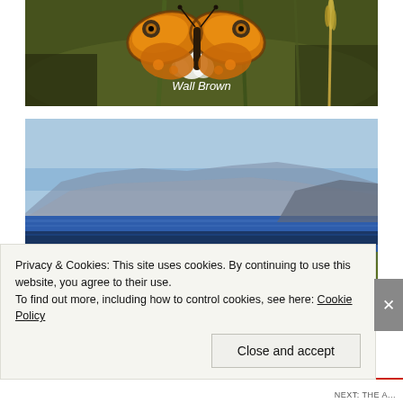[Figure (photo): Close-up photograph of a Wall Brown butterfly with orange and brown patterned wings resting on white flowers, with green grass and seed heads in the background.]
Wall Brown
[Figure (photo): Landscape photograph showing a coastal scene with yellow wildflowers and green shrubby vegetation in the foreground, a deep blue sea in the middle distance, and mountains/hills under a hazy blue sky in the background.]
Privacy & Cookies: This site uses cookies. By continuing to use this website, you agree to their use.
To find out more, including how to control cookies, see here: Cookie Policy
Close and accept